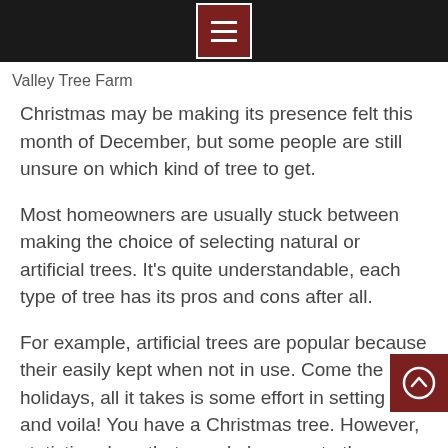Valley Tree Farm
Christmas may be making its presence felt this month of December, but some people are still unsure on which kind of tree to get.
Most homeowners are usually stuck between making the choice of selecting natural or artificial trees. It's quite understandable, each type of tree has its pros and cons after all.
For example, artificial trees are popular because their easily kept when not in use. Come the holidays, all it takes is some effort in setting it up and voila! You have a Christmas tree. However, statistics show that people hang on to these trees for only 3 to 5 years, dumping them after. Being made of plastic, it stays in